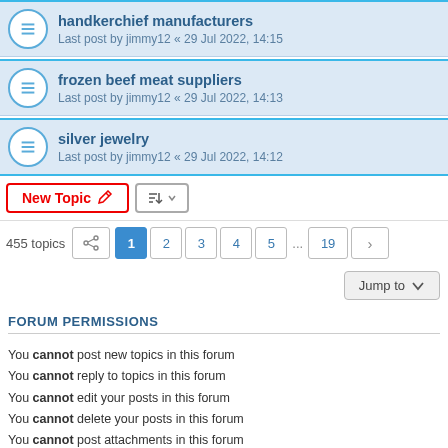handkerchief manufacturers — Last post by jimmy12 « 29 Jul 2022, 14:15
frozen beef meat suppliers — Last post by jimmy12 « 29 Jul 2022, 14:13
silver jewelry — Last post by jimmy12 « 29 Jul 2022, 14:12
New Topic | sort | 455 topics | pagination: 1 2 3 4 5 ... 19 >
Jump to
FORUM PERMISSIONS
You cannot post new topics in this forum
You cannot reply to topics in this forum
You cannot edit your posts in this forum
You cannot delete your posts in this forum
You cannot post attachments in this forum
Board index | Contact us | Delete cookies | All times are UTC+03:00
You can Get Free Forum PHPBB2 or Create forum for free PHPBB3 Powered by phpBB® Forum Software © phpBB Limited Privacy | Terms